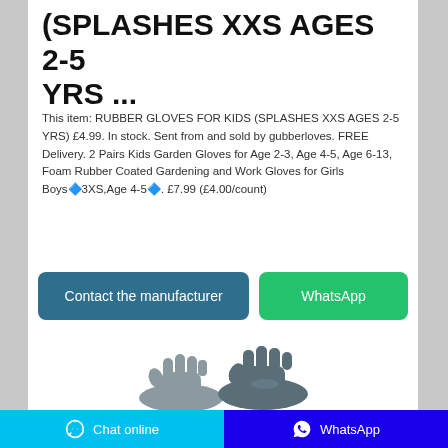(SPLASHES XXS AGES 2-5 YRS ...
This item: RUBBER GLOVES FOR KIDS (SPLASHES XXS AGES 2-5 YRS) £4.99. In stock. Sent from and sold by gubberloves. FREE Delivery. 2 Pairs Kids Garden Gloves for Age 2-3, Age 4-5, Age 6-13, Foam Rubber Coated Gardening and Work Gloves for Girls Boys🔷3XS,Age 4-5🔷. £7.99 (£4.00/count)
[Figure (other): Two rubber/gardening gloves for kids shown at the bottom of the page]
Contact the manufacturer
WhatsApp
Chat online | WhatsApp